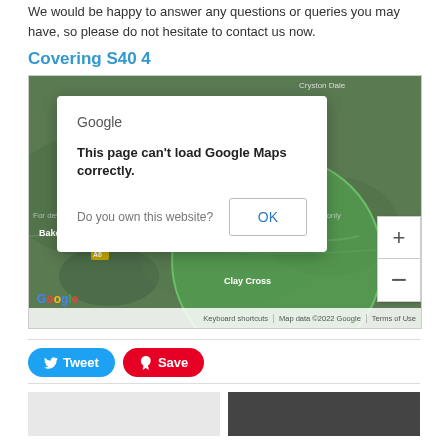We would be happy to answer any questions or queries you may have, so please do not hesitate to contact us now.
Covering S40 4
[Figure (map): Google Maps satellite/terrain view with a green circle overlay covering S40 4 area. An error dialog overlaid reads: 'This page can't load Google Maps correctly. Do you own this website? OK'. Map shows Bakewell, Clay Cross region. Map footer: 'Keyboard shortcuts | Map data ©2022 Google | Terms of Use'. Zoom +/- controls on right.]
[Figure (infographic): Tweet button (blue, Twitter bird icon) and Save button (red, Pinterest pin icon)]
[Figure (photo): Two partial thumbnail images at the bottom of the page - one light/white on left and one dark on right]